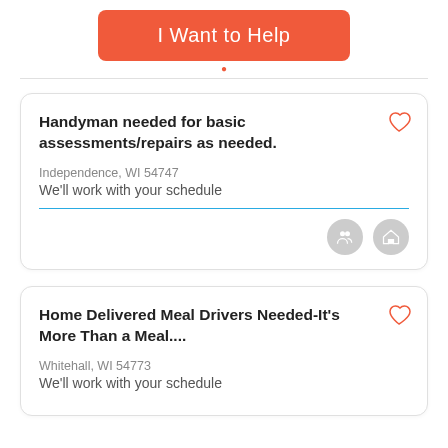I Want to Help
Handyman needed for basic assessments/repairs as needed.
Independence, WI 54747
We'll work with your schedule
Home Delivered Meal Drivers Needed-It's More Than a Meal....
Whitehall, WI 54773
We'll work with your schedule